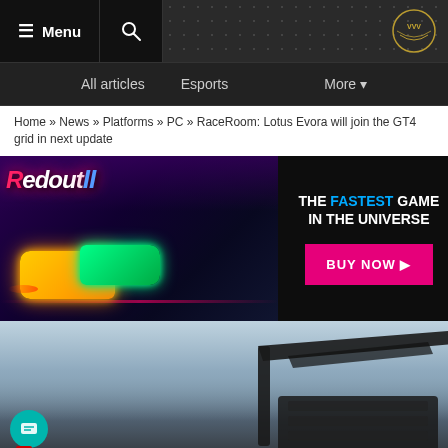≡ Menu | 🔍 | VVV Logo
All articles  Esports  More
Home » News » Platforms » PC » RaceRoom: Lotus Evora will join the GT4 grid in next update
[Figure (screenshot): Redout II game advertisement banner. Left side shows futuristic racing cars (yellow and green) against a colorful city background with the Redout II logo. Right side on black background reads 'THE FASTEST GAME IN THE UNIVERSE' with a pink BUY NOW button.]
[Figure (photo): Photo of a racing car rear spoiler/wing against a cloudy sky background. A red news tag bar at the bottom shows a flame icon and the word 'News'. Petronas Syntium branding visible in lower right.]